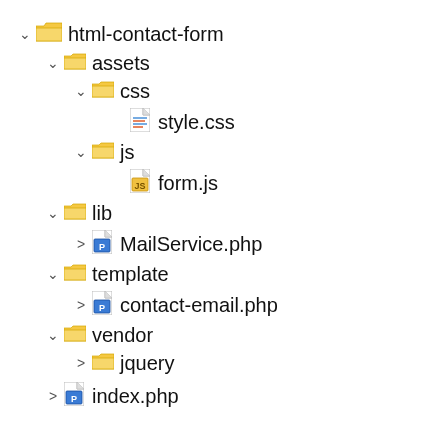[Figure (other): File tree/directory structure showing html-contact-form project with folders: assets (containing css/style.css, js/form.js), lib (containing MailService.php), template (containing contact-email.php), vendor (containing jquery), and index.php at root level.]